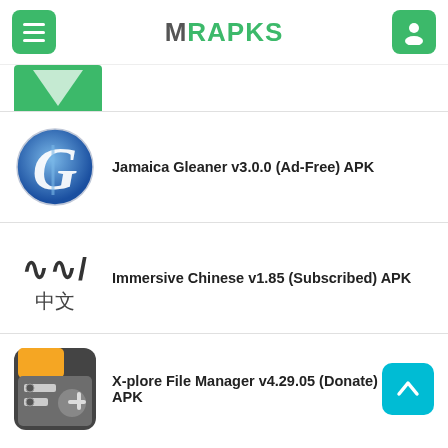MRAPKS
[Figure (screenshot): Partial green app icon at the top, cropped]
Jamaica Gleaner v3.0.0 (Ad-Free) APK
Immersive Chinese v1.85 (Subscribed) APK
X-plore File Manager v4.29.05 (Donate) APK